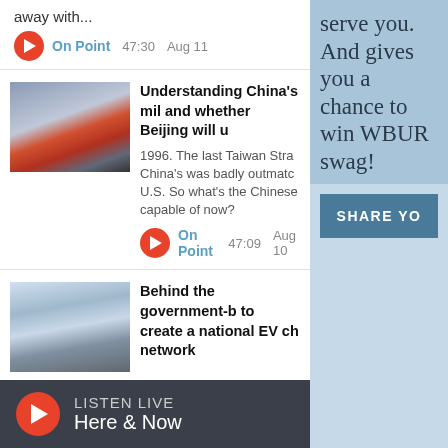away with...
On Point  47:30  Aug 11
[Figure (photo): Military aircraft on airstrip]
Understanding China's mil and whether Beijing will u
1996. The last Taiwan Stra China's was badly outmatc U.S. So what's the Chinese capable of now?
On Point  47:09  Aug 10
[Figure (photo): Electric vehicles parked at charging station]
Behind the government-b to create a national EV ch network
serve you. And gives you a chance to win WBUR swag!
SHARE YO
LISTEN LIVE
Here & Now